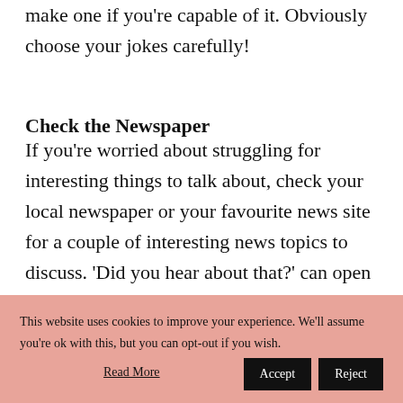make one if you're capable of it. Obviously choose your jokes carefully!
Check the Newspaper
If you're worried about struggling for interesting things to talk about, check your local newspaper or your favourite news site for a couple of interesting news topics to discuss. 'Did you hear about that?' can open up the doors to a fun conversation that can spiral into discovering other things about
This website uses cookies to improve your experience. We'll assume you're ok with this, but you can opt-out if you wish.
Read More